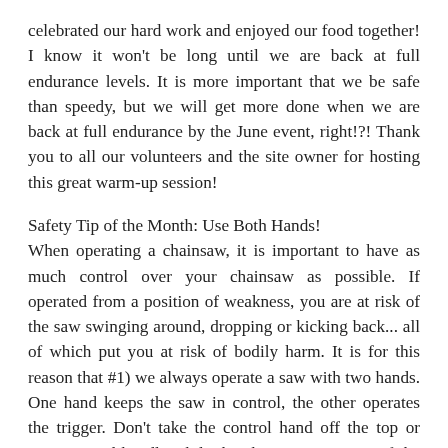celebrated our hard work and enjoyed our food together! I know it won't be long until we are back at full endurance levels. It is more important that we be safe than speedy, but we will get more done when we are back at full endurance by the June event, right!?! Thank you to all our volunteers and the site owner for hosting this great warm-up session!
Safety Tip of the Month: Use Both Hands!
When operating a chainsaw, it is important to have as much control over your chainsaw as possible. If operated from a position of weakness, you are at risk of the saw swinging around, dropping or kicking back... all of which put you at risk of bodily harm. It is for this reason that #1) we always operate a saw with two hands. One hand keeps the saw in control, the other operates the trigger. Don't take the control hand off the top or wrap around handle while the chain is in motion. If the saw were to kick